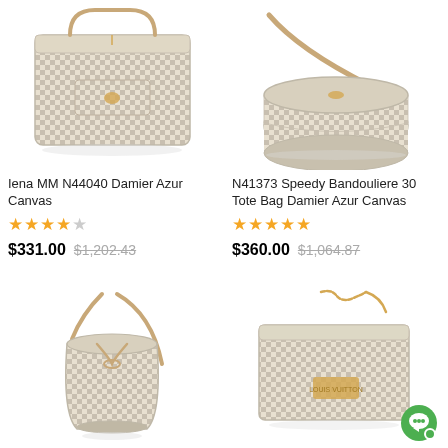[Figure (photo): Iena MM N44040 Damier Azur Canvas tote bag - top left]
Iena MM N44040 Damier Azur Canvas
★★★★☆
$331.00  $1,202.43
[Figure (photo): N41373 Speedy Bandouliere 30 Tote Bag Damier Azur Canvas with shoulder strap - top right]
N41373 Speedy Bandouliere 30 Tote Bag Damier Azur Canvas
★★★★★
$360.00  $1,064.87
[Figure (photo): Small bucket bag Damier Azur Canvas with drawstring and crossbody strap - bottom left]
[Figure (photo): Flat clutch/shoulder bag Damier Azur Canvas with chain strap - bottom right]